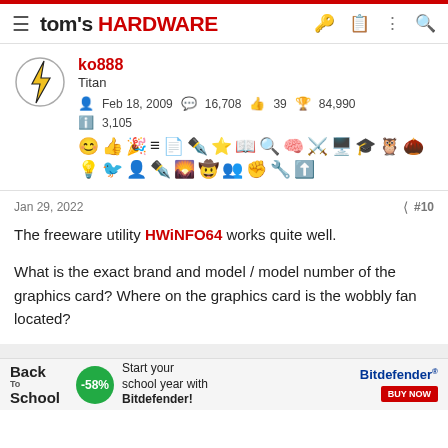tom's HARDWARE
ko888
Titan
Feb 18, 2009  16,708  39  84,990
3,105
Jan 29, 2022  #10
The freeware utility HWiNFO64 works quite well.

What is the exact brand and model / model number of the graphics card? Where on the graphics card is the wobbly fan located?
[Figure (other): Back to School advertisement banner for Bitdefender with -58% discount and BUY NOW button]